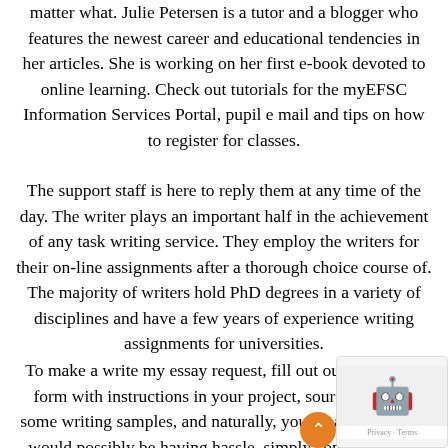matter what. Julie Petersen is a tutor and a blogger who features the newest career and educational tendencies in her articles. She is working on her first e-book devoted to online learning. Check out tutorials for the myEFSC Information Services Portal, pupil e mail and tips on how to register for classes.
The support staff is here to reply them at any time of the day. The writer plays an important half in the achievement of any task writing service. They employ the writers for their on-line assignments after a thorough choice course of. The majority of writers hold PhD degrees in a variety of disciplines and have a few years of experience writing assignments for universities.
To make a write my essay request, fill out our easy order form with instructions in your project, sources for use, some writing samples, and naturally, your deadline. If you would possibly be having hassle, simply cont help staff, who are prepared to assist. Then, deadline before hiring skilled essay writers. When a